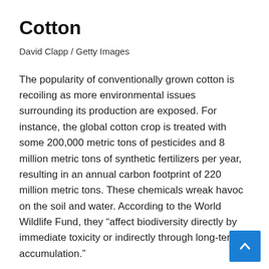Cotton
David Clapp / Getty Images
The popularity of conventionally grown cotton is recoiling as more environmental issues surrounding its production are exposed. For instance, the global cotton crop is treated with some 200,000 metric tons of pesticides and 8 million metric tons of synthetic fertilizers per year, resulting in an annual carbon footprint of 220 million metric tons. These chemicals wreak havoc on the soil and water. According to the World Wildlife Fund, they “affect biodiversity directly by immediate toxicity or indirectly through long-term accumulation.”